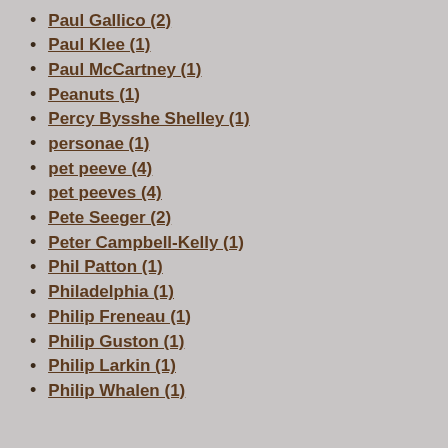Paul Gallico (2)
Paul Klee (1)
Paul McCartney (1)
Peanuts (1)
Percy Bysshe Shelley (1)
personae (1)
pet peeve (4)
pet peeves (4)
Pete Seeger (2)
Peter Campbell-Kelly (1)
Phil Patton (1)
Philadelphia (1)
Philip Freneau (1)
Philip Guston (1)
Philip Larkin (1)
Philip Whalen (1)